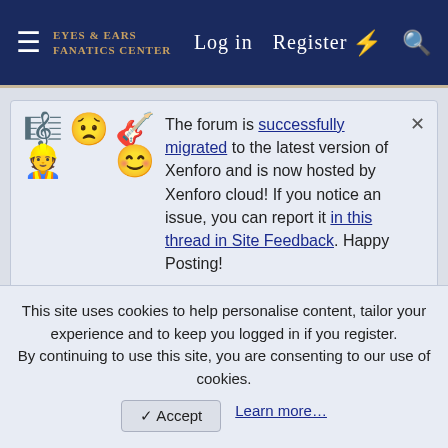Log in  Register
The forum is successfully migrated to the latest version of Xenforo and is now hosted by Xenforo cloud! If you notice an issue, you can report it in this thread in Site Feedback. Happy Posting!
One long-time fanatic turns out to be a game developer, and he will release his game soon - ZOR: Pilgrimage of the Slorfs! You can win a copy of it, click here!
Tags
dune
This site uses cookies to help personalise content, tailor your experience and to keep you logged in if you register.
By continuing to use this site, you are consenting to our use of cookies.